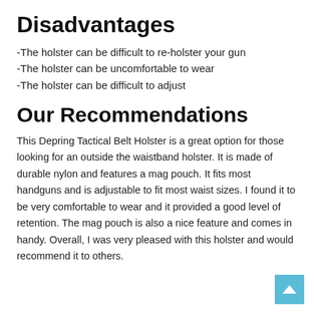Disadvantages
-The holster can be difficult to re-holster your gun
-The holster can be uncomfortable to wear
-The holster can be difficult to adjust
Our Recommendations
This Depring Tactical Belt Holster is a great option for those looking for an outside the waistband holster. It is made of durable nylon and features a mag pouch. It fits most handguns and is adjustable to fit most waist sizes. I found it to be very comfortable to wear and it provided a good level of retention. The mag pouch is also a nice feature and comes in handy. Overall, I was very pleased with this holster and would recommend it to others.